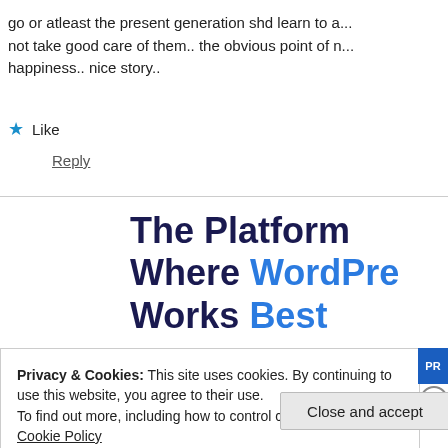go or atleast the present generation shd learn to a... not take good care of them.. the obvious point of n... happiness.. nice story..
★ Like
Reply
The Platform Where WordPress Works Best
Privacy & Cookies: This site uses cookies. By continuing to use this website, you agree to their use. To find out more, including how to control cookies, see here: Cookie Policy
Close and accept